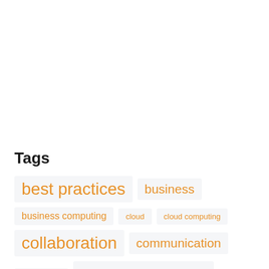Tags
best practices
business
business computing
cloud
cloud computing
collaboration
communication
compliance
cyber security
data
data backup
data recovery
disaster recovery